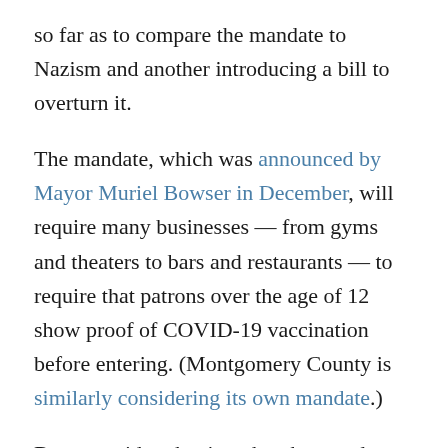so far as to compare the mandate to Nazism and another introducing a bill to overturn it.
The mandate, which was announced by Mayor Muriel Bowser in December, will require many businesses — from gyms and theaters to bars and restaurants — to require that patrons over the age of 12 show proof of COVID-19 vaccination before entering. (Montgomery County is similarly considering its own mandate.)
Bowser said at the time that the mandate was a means to encourage more people to get vaccinated; while even those who have gotten the shots can catch the highly transmissible omicron variant, city officials have said that an overwhelming majority of recent hospitalizations and deaths from the virus have been among the unvaccinated. (Similar